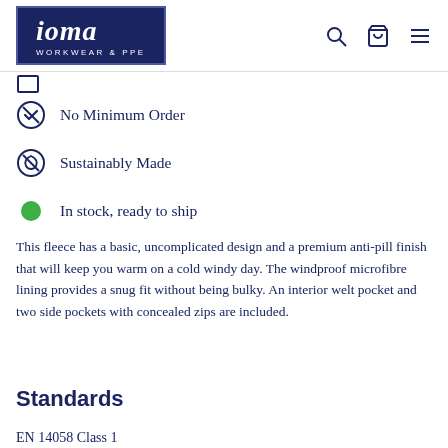ioma WORKWEAR & PPE
No Minimum Order
Sustainably Made
In stock, ready to ship
This fleece has a basic, uncomplicated design and a premium anti-pill finish that will keep you warm on a cold windy day. The windproof microfibre lining provides a snug fit without being bulky. An interior welt pocket and two side pockets with concealed zips are included.
Standards
EN 14058 Class 1